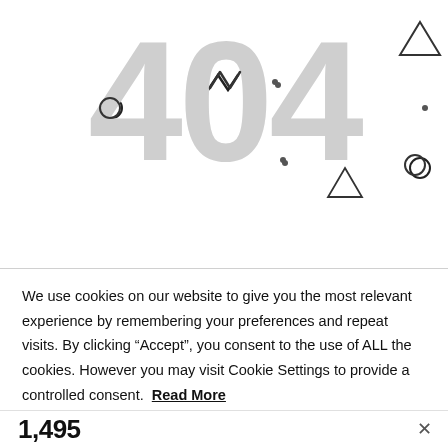[Figure (screenshot): 404 error page with large grey '404' text and decorative geometric shapes (circles, triangles, zigzag lines) scattered around it]
Go Home
We use cookies on our website to give you the most relevant experience by remembering your preferences and repeat visits. By clicking “Accept”, you consent to the use of ALL the cookies. However you may visit Cookie Settings to provide a controlled consent. Read More
Cookie settings
Accept
1,495